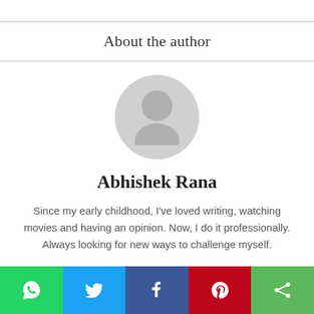About the author
[Figure (illustration): Default avatar/profile placeholder — grey circle with white silhouette of a person]
Abhishek Rana
Since my early childhood, I've loved writing, watching movies and having an opinion. Now, I do it professionally. Always looking for new ways to challenge myself.
View all posts
[Figure (infographic): Social sharing bar with WhatsApp (green), Twitter (blue), Facebook (dark blue), Pinterest (red), and Share (green) buttons with respective icons]